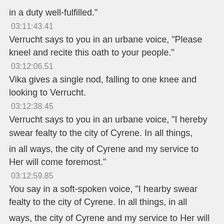in a duty well-fulfilled."
03:11:43.41
Verrucht says to you in an urbane voice, "Please kneel and recite this oath to your people."
03:12:06.51
Vika gives a single nod, falling to one knee and looking to Verrucht.
03:12:38.45
Verrucht says to you in an urbane voice, "I hereby swear fealty to the city of Cyrene. In all things,
in all ways, the city of Cyrene and my service to Her will come foremost."
03:12:59.85
You say in a soft-spoken voice, "I hearby swear fealty to the city of Cyrene. In all things, in all
ways, the city of Cyrene and my service to Her will come foremost."